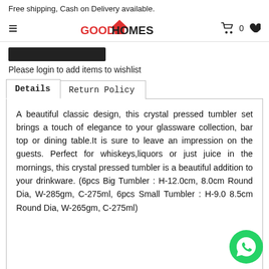Free shipping, Cash on Delivery available.
[Figure (logo): GoodHomes logo with red house icon, cart icon showing 0, and heart icon]
[Figure (other): Black rectangular login button bar]
Please login to add items to wishlist
A beautiful classic design, this crystal pressed tumbler set brings a touch of elegance to your glassware collection, bar top or dining table.It is sure to leave an impression on the guests. Perfect for whiskeys,liquors or just juice in the mornings, this crystal pressed tumbler is a beautiful addition to your drinkware. (6pcs Big Tumbler : H-12.0cm, 8.0cm Round Dia, W-285gm, C-275ml, 6pcs Small Tumbler : H-9.0 8.5cm Round Dia, W-265gm, C-275ml)
[Figure (other): WhatsApp green circular button icon at bottom right]